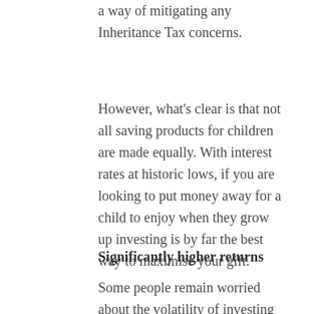a way of mitigating any Inheritance Tax concerns.
However, what's clear is that not all saving products for children are made equally. With interest rates at historic lows, if you are looking to put money away for a child to enjoy when they grow up investing is by far the best way to maximise your gift.
Significantly higher returns
Some people remain worried about the volatility of investing but, with an 18-year horizon, putting money to work in